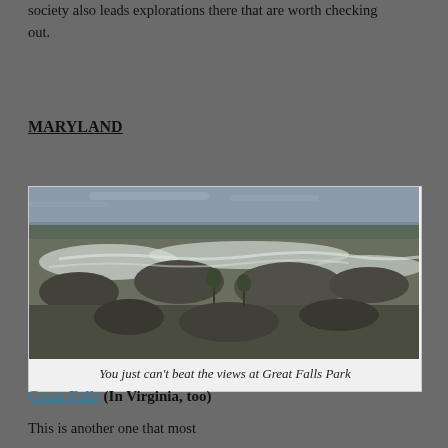society also leads explorations there that are worth checking out.
MARYLAND
[Figure (photo): Aerial or elevated view of Great Falls Park showing rushing white water rapids flowing between and over large rocky outcroppings, with sparse trees and overcast sky in background.]
You just can't beat the views at Great Falls Park
Great Falls (In Virginia, too)
This is another one that most